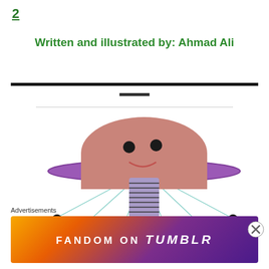2
Written and illustrated by: Ahmad Ali
[Figure (illustration): A cartoon UFO/alien spaceship with a pink dome top featuring two black dot eyes and a pink smile, a purple disc/ring around the middle, a purple rectangular body below, light teal beam lines radiating downward, and two small black circles at the ends of the beams representing landing feet.]
Advertisements
[Figure (other): Advertisement banner: colorful gradient background (orange to purple) with text 'FANDOM ON tumblr' in white bold letters with decorative doodles.]